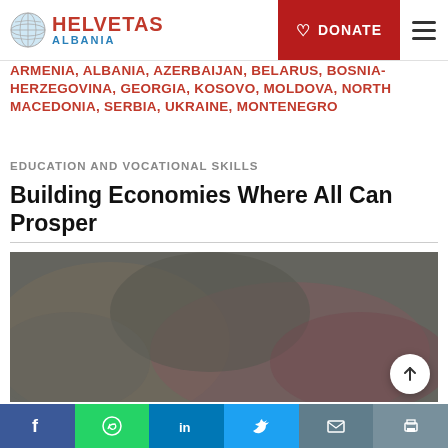HELVETAS ALBANIA — DONATE
ARMENIA, ALBANIA, AZERBAIJAN, BELARUS, BOSNIA-HERZEGOVINA, GEORGIA, KOSOVO, MOLDOVA, NORTH MACEDONIA, SERBIA, UKRAINE, MONTENEGRO
EDUCATION AND VOCATIONAL SKILLS
Building Economies Where All Can Prosper
[Figure (photo): Blurred/muted photograph with gray, olive, and reddish tones used as a hero image for an article about building economies]